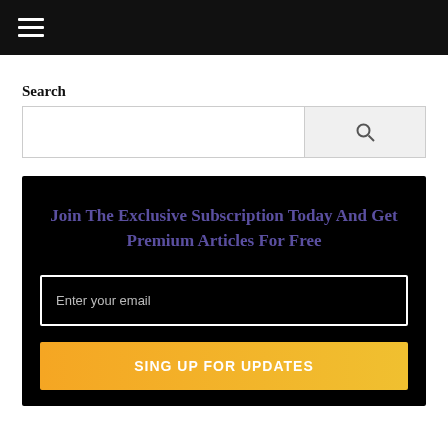☰ (hamburger menu)
Search
[Figure (other): Search bar with text input and search button icon]
Join The Exclusive Subscription Today And Get Premium Articles For Free
Enter your email
SING UP FOR UPDATES